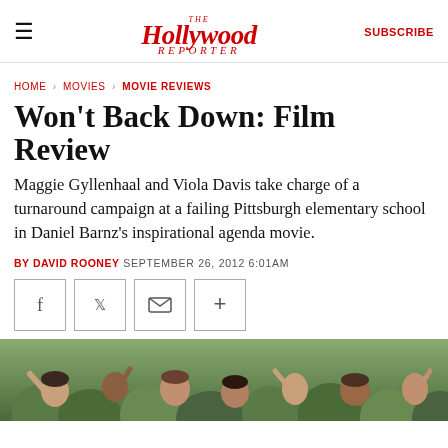The Hollywood Reporter — SUBSCRIBE
HOME > MOVIES > MOVIE REVIEWS
Won't Back Down: Film Review
Maggie Gyllenhaal and Viola Davis take charge of a turnaround campaign at a failing Pittsburgh elementary school in Daniel Barnz's inspirational agenda movie.
BY DAVID ROONEY SEPTEMBER 26, 2012 6:01AM
[Figure (other): Social sharing buttons: Facebook, Twitter, Email, More]
[Figure (photo): Photo of crowd in green shirts, smiling and cheering outdoors]